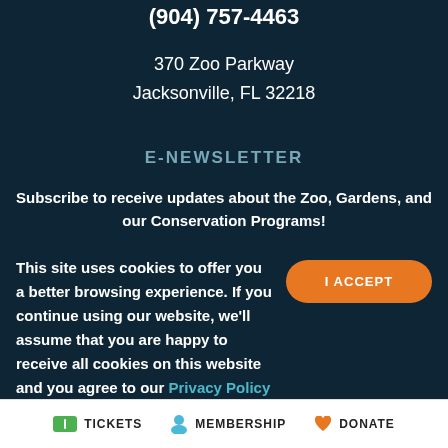(904) 757-4463
370 Zoo Parkway
Jacksonville, FL 32218
E-NEWSLETTER
Subscribe to receive updates about the Zoo, Gardens, and our Conservation Programs!
This site uses cookies to offer you a better browsing experience. If you continue using our website, we'll assume that you are happy to receive all cookies on this website and you agree to our Privacy Policy
TICKETS   MEMBERSHIP   DONATE